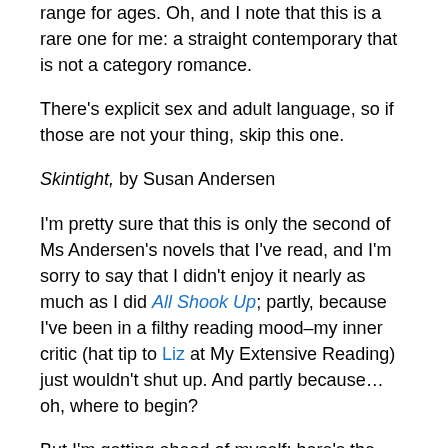range for ages. Oh, and I note that this is a rare one for me: a straight contemporary that is not a category romance.
There's explicit sex and adult language, so if those are not your thing, skip this one.
Skintight, by Susan Andersen
I'm pretty sure that this is only the second of Ms Andersen's novels that I've read, and I'm sorry to say that I didn't enjoy it nearly as much as I did All Shook Up; partly, because I've been in a filthy reading mood–my inner critic (hat tip to Liz at My Extensive Reading) just wouldn't shut up. And partly because…oh, where to begin?
But I'm getting ahead of myself; here's the blurb:
Professional poker player Jax Gallagher should have